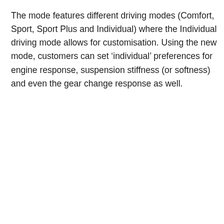The mode features different driving modes (Comfort, Sport, Sport Plus and Individual) where the Individual driving mode allows for customisation. Using the new mode, customers can set ‘individual’ preferences for engine response, suspension stiffness (or softness) and even the gear change response as well.